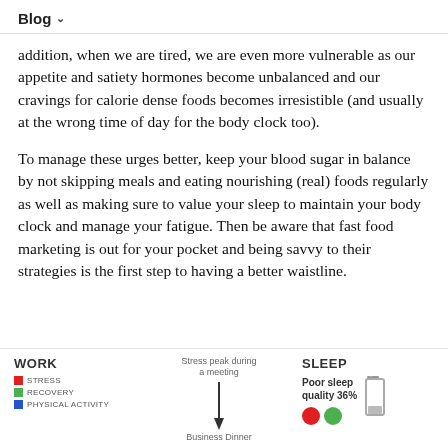Blog
addition, when we are tired, we are even more vulnerable as our appetite and satiety hormones become unbalanced and our cravings for calorie dense foods becomes irresistible (and usually at the wrong time of day for the body clock too).
To manage these urges better, keep your blood sugar in balance by not skipping meals and eating nourishing (real) foods regularly as well as making sure to value your sleep to maintain your body clock and manage your fatigue. Then be aware that fast food marketing is out for your pocket and being savvy to their strategies is the first step to having a better waistline.
[Figure (infographic): Bottom section showing WORK legend with STRESS (red), RECOVERY (green), PHYSICAL ACTIVITY (blue) labels; a center chart area with 'Stress peak during a meeting' annotation with downward arrow and 'Business Dinner' label below; and a SLEEP section showing 'Poor sleep quality 36%' with a battery icon and colored indicators]